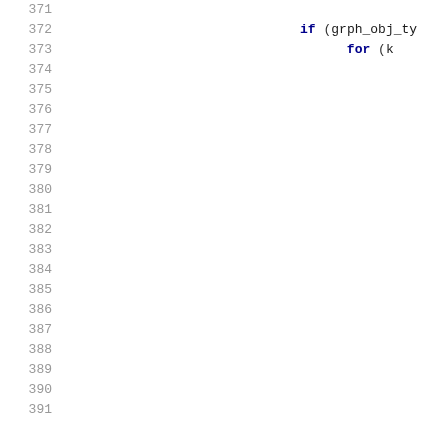371
372    if (grph_obj_ty
373          for (k
374
375
376
377
378
379
380
381
382
383
384
385
386
387
388
389
390
391